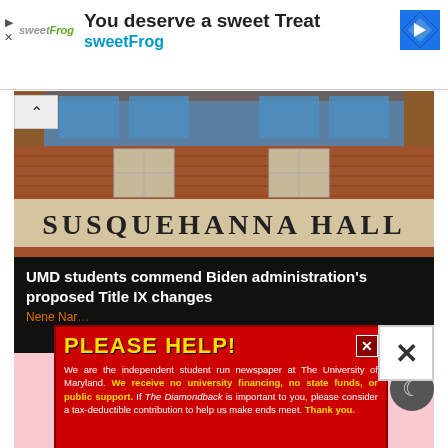[Figure (other): sweetFrog advertisement banner with logo, headline 'You deserve a sweet Treat', subheadline 'sweetFrog', and navigation icon]
[Figure (photo): Photograph of the exterior of Susquehanna Hall at the University of Maryland, showing red brick building with the name 'SUSQUEHANNA HALL' engraved on the facade]
UMD students commend Biden administration's proposed Title IX changes
Nene Nar...
[Figure (infographic): PLEASE HELP! popup overlay: 'We are the independent student run newspaper at The University of Maryland. We receive no university financing, no state funds, or public support. If The Diamondback is important to you, please consider a tax-deductible contribution to help us make ends meet. Thank you.' with CLICK HERE button and THE DIAMONDBACK logo]
[Figure (other): Pink content section below article bar]
[Figure (other): Dark mode moon button icon]